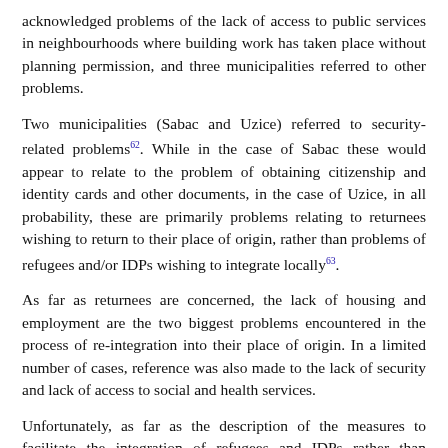acknowledged problems of the lack of access to public services in neighbourhoods where building work has taken place without planning permission, and three municipalities referred to other problems.
Two municipalities (Sabac and Uzice) referred to security-related problems[62]. While in the case of Sabac these would appear to relate to the problem of obtaining citizenship and identity cards and other documents, in the case of Uzice, in all probability, these are primarily problems relating to returnees wishing to return to their place of origin, rather than problems of refugees and/or IDPs wishing to integrate locally[63].
As far as returnees are concerned, the lack of housing and employment are the two biggest problems encountered in the process of re-integration into their place of origin. In a limited number of cases, reference was also made to the lack of security and lack of access to social and health services.
Unfortunately, as far as the description of the measures to facilitate the integration of refugees and IDPs rather than returnees is concerned the replies generally do not provide full information on all issues nor do they describe the measures in detail. It is however clear that the majority of these measures concern integration and the improvement of relations with the local